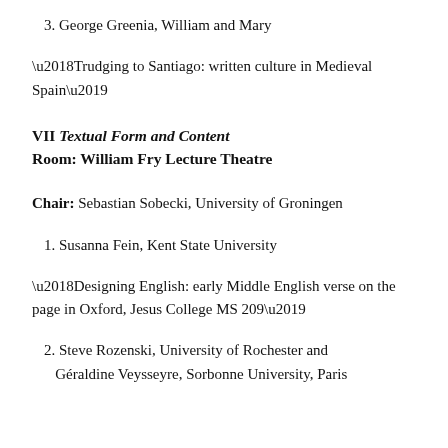3. George Greenia, William and Mary
‘Trudging to Santiago: written culture in Medieval Spain’
VII Textual Form and Content
Room: William Fry Lecture Theatre
Chair: Sebastian Sobecki, University of Groningen
1. Susanna Fein, Kent State University
‘Designing English: early Middle English verse on the page in Oxford, Jesus College MS 209’
2. Steve Rozenski, University of Rochester and Géraldine Veysseyre, Sorbonne University, Paris